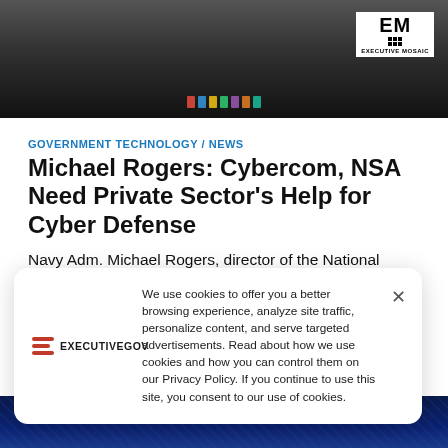[Figure (photo): Top photo of a military official in uniform with medals and ribbons, with Executive Mosaic logo in upper right corner]
GOVERNMENT TECHNOLOGY / NEWS
Michael Rogers: Cybercom, NSA Need Private Sector's Help for Cyber Defense
Navy Adm. Michael Rogers, director of the National Security Agency, has said NSA and the U.S. Cyber Command need to forge partnerships with the commercial sector to protect data networks from cyber attacks,
More
[Figure (screenshot): Cookie consent popup with ExecutiveGov logo on left, cookie policy text in center, and X close button on right]
[Figure (photo): Bottom blue-toned digital/cyber themed image]